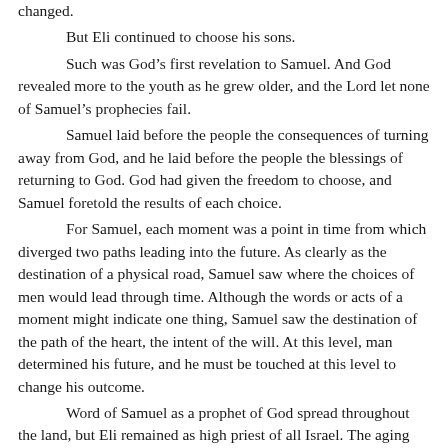changed.
But Eli continued to choose his sons.
Such was God’s first revelation to Samuel. And God revealed more to the youth as he grew older, and the Lord let none of Samuel’s prophecies fail.
Samuel laid before the people the consequences of turning away from God, and he laid before the people the blessings of returning to God. God had given the freedom to choose, and Samuel foretold the results of each choice.
For Samuel, each moment was a point in time from which diverged two paths leading into the future. As clearly as the destination of a physical road, Samuel saw where the choices of men would lead through time. Although the words or acts of a moment might indicate one thing, Samuel saw the destination of the path of the heart, the intent of the will. At this level, man determined his future, and he must be touched at this level to change his outcome.
Word of Samuel as a prophet of God spread throughout the land, but Eli remained as high priest of all Israel. The aging priest’s successor would be the eldest of his sons. Surely the words of the prophecy would come true before the death of Eli. How could faith in God survive Hophni as high priest?